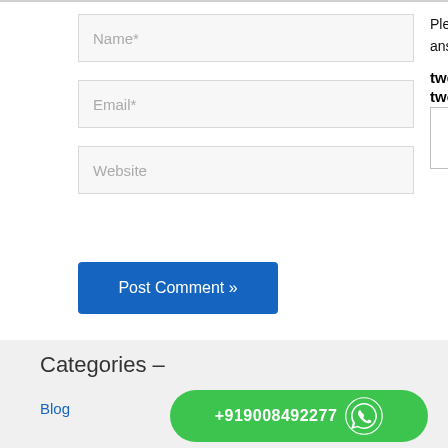Name*
Email*
Website
Please enter an answer in digits:
twenty – two =
Post Comment »
Categories –
Blog
+919008492277